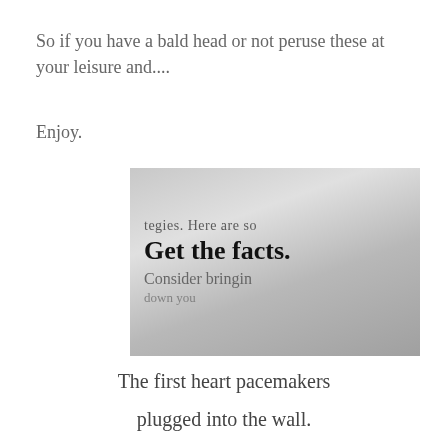So if you have a bald head or not peruse these at your leisure and....
Enjoy.
[Figure (photo): Close-up photo of printed text on a page showing partial words: 'tegies. Here are so', 'Get the facts.' in bold, 'Consider bringin', and partial text below. The photo has a shallow depth of field with the center text in focus.]
The first heart pacemakers
plugged into the wall.